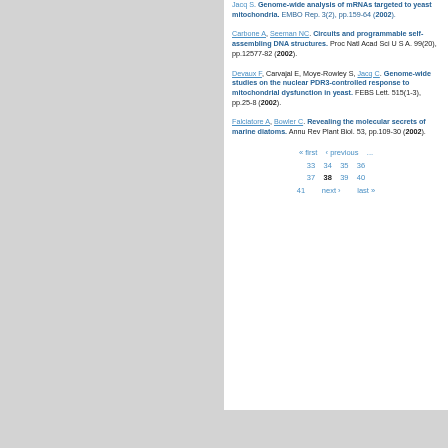Jacq S. Genome-wide analysis of mRNAs targeted to yeast mitochondria. EMBO Rep. 3(2), pp.159-64 (2002).
Carbone A, Seeman NC. Circuits and programmable self-assembling DNA structures. Proc Natl Acad Sci U S A. 99(20), pp.12577-82 (2002).
Devaux F, Carvajal E, Moye-Rowley S, Jacq C. Genome-wide studies on the nuclear PDR3-controlled response to mitochondrial dysfunction in yeast. FEBS Lett. 515(1-3), pp.25-8 (2002).
Falciatore A, Bowler C. Revealing the molecular secrets of marine diatoms. Annu Rev Plant Biol. 53, pp.109-30 (2002).
« first  ‹ previous  ...  33  34  35  36  37  38  39  40  41  next ›  last »